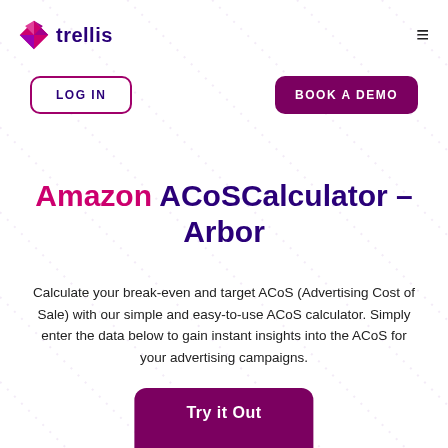[Figure (logo): Trellis logo: pink/purple diamond shape with 'trellis' wordmark in dark purple]
LOG IN
BOOK A DEMO
Amazon ACoSCalculator – Arbor
Calculate your break-even and target ACoS (Advertising Cost of Sale) with our simple and easy-to-use ACoS calculator. Simply enter the data below to gain instant insights into the ACoS for your advertising campaigns.
Try it Out